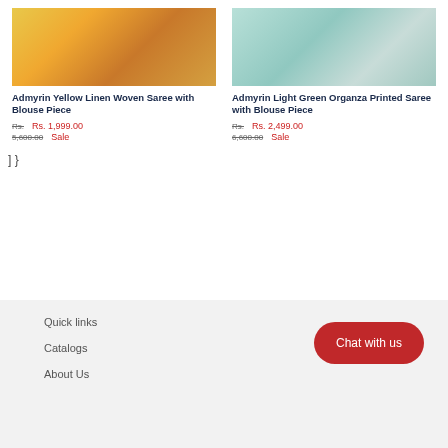[Figure (photo): Yellow linen woven saree product photo]
Admyrin Yellow Linen Woven Saree with Blouse Piece
Rs. Rs. 1,999.00 5,600.00 Sale
[Figure (photo): Light green organza printed saree product photo]
Admyrin Light Green Organza Printed Saree with Blouse Piece
Rs. Rs. 2,499.00 6,600.00 Sale
] }
Quick links
Catalogs
Chat with us
About Us